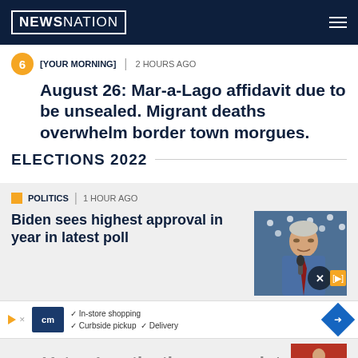NEWSNATION
6 [YOUR MORNING] | 2 HOURS AGO
August 26: Mar-a-Lago affidavit due to be unsealed. Migrant deaths overwhelm border town morgues.
ELECTIONS 2022
POLITICS | 1 HOUR AGO
Biden sees highest approval in year in latest poll
[Figure (photo): Photo of Joe Biden speaking at a podium against an American flag backdrop]
PO | In-store shopping | Curbside pickup | Delivery [Advertisement]
Voters' motivations come into